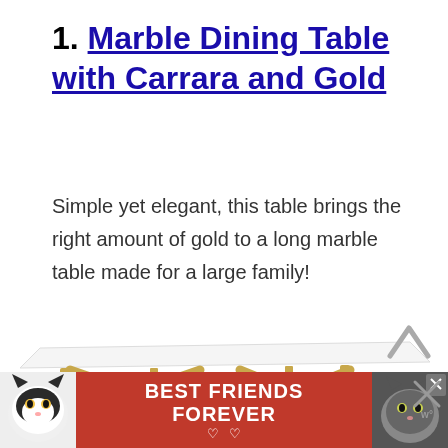1. Marble Dining Table with Carrara and Gold
Simple yet elegant, this table brings the right amount of gold to a long marble table made for a large family!
[Figure (photo): A marble-top dining table with gold X-cross metal legs, partially visible from the top portion of the table]
[Figure (other): Advertisement banner with two cats (black and white cat on left, dark cat on right), red background with white bold text reading BEST FRIENDS FOREVER with heart symbols]